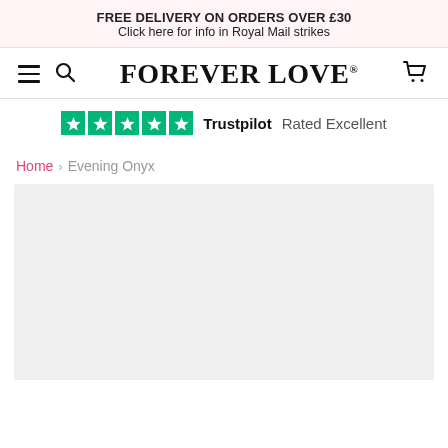FREE DELIVERY ON ORDERS OVER £30
Click here for info in Royal Mail strikes
[Figure (logo): Forever Love logo with hamburger menu, search icon, and cart icon in navigation bar]
[Figure (infographic): Trustpilot five green stars badge with text 'Trustpilot Rated Excellent']
Home › Evening Onyx
[Figure (photo): Product image area, light grey placeholder]